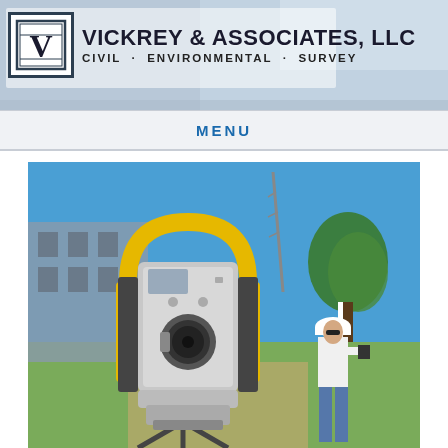[Figure (logo): Vickrey & Associates LLC logo with V monogram icon in bordered box]
VICKREY & ASSOCIATES, LLC
CIVIL · ENVIRONMENTAL · SURVEY
MENU
[Figure (photo): Survey equipment (total station/robotic theodolite) in foreground with yellow and gray casing, and a surveyor wearing a white hard hat and holding a rod/device in the background, outdoors with blue sky, trees, and a building visible]